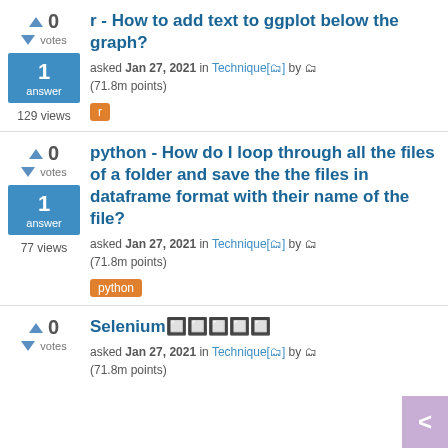r - How to add text to ggplot below the graph?
asked Jan 27, 2021 in Technique[🏷️] by 🤡 (71.8m points)
r [tag]
129 views
python - How do I loop through all the files of a folder and save the the files in dataframe format with their name of the file?
asked Jan 27, 2021 in Technique[🏷️] by 🤡 (71.8m points)
python [tag]
77 views
Selenium🔲🔲🔲🔲🔲
asked Jan 27, 2021 in Technique[🏷️] by 🤡 (71.8m points)